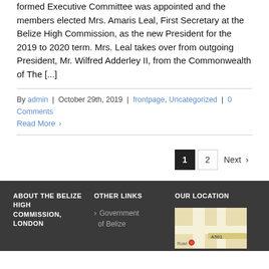formed Executive Committee was appointed and the members elected Mrs. Amaris Leal, First Secretary at the Belize High Commission, as the new President for the 2019 to 2020 term. Mrs. Leal takes over from outgoing President, Mr. Wilfred Adderley II, from the Commonwealth of The [...]
By admin | October 29th, 2019 | frontpage, Uncategorized | 0 Comments
Read More
1  2  Next
ABOUT THE BELIZE HIGH COMMISSION, LONDON
OTHER LINKS
OUR LOCATION
Government of Belize
[Figure (map): Map showing location near A501 Road]